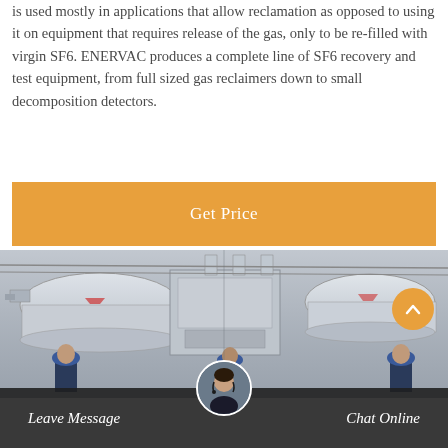is used mostly in applications that allow reclamation as opposed to using it on equipment that requires release of the gas, only to be re-filled with virgin SF6. ENERVAC produces a complete line of SF6 recovery and test equipment, from full sized gas reclaimers down to small decomposition detectors.
Get Price
[Figure (photo): Industrial electrical substation equipment with large transformers and pipes, workers in blue hard hats visible in the foreground]
Leave Message
Chat Online